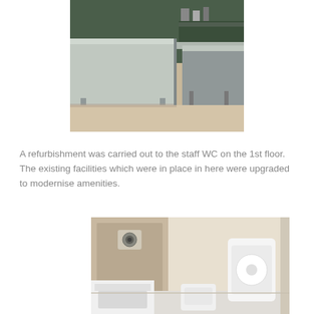[Figure (photo): Photograph of a commercial kitchen interior showing stainless steel counters and benches on a light-colored floor.]
A refurbishment was carried out to the staff WC on the 1st floor. The existing facilities which were in place in here were upgraded to modernise amenities.
[Figure (photo): Photograph of a refurbished staff WC showing a wall-mounted ventilation unit, toilet, hand dryer and paper towel dispenser on cream-coloured walls.]